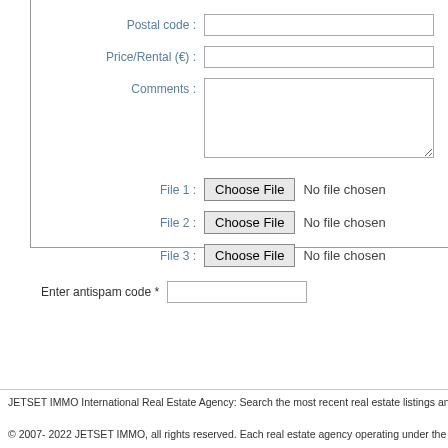Postal code :
Price/Rental (€) :
Comments :
File 1 :
File 2 :
File 3 :
Enter antispam code *
JETSET IMMO International Real Estate Agency: Search the most recent real estate listings and find your ne
© 2007- 2022 JETSET IMMO, all rights reserved. Each real estate agency operating under the name of JetSe